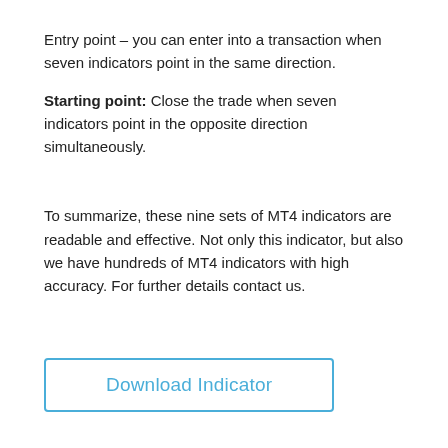Entry point – you can enter into a transaction when seven indicators point in the same direction.
Starting point: Close the trade when seven indicators point in the opposite direction simultaneously.
To summarize, these nine sets of MT4 indicators are readable and effective. Not only this indicator, but also we have hundreds of MT4 indicators with high accuracy. For further details contact us.
Download Indicator